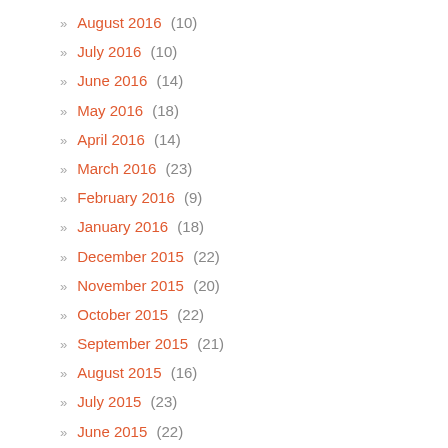August 2016 (10)
July 2016 (10)
June 2016 (14)
May 2016 (18)
April 2016 (14)
March 2016 (23)
February 2016 (9)
January 2016 (18)
December 2015 (22)
November 2015 (20)
October 2015 (22)
September 2015 (21)
August 2015 (16)
July 2015 (23)
June 2015 (22)